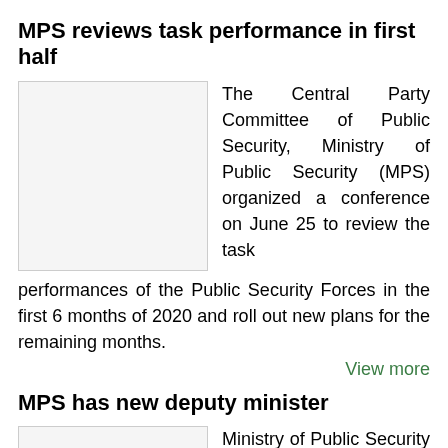MPS reviews task performance in first half
[Figure (photo): Photo related to MPS conference on June 25]
The Central Party Committee of Public Security, Ministry of Public Security (MPS) organized a conference on June 25 to review the task performances of the Public Security Forces in the first 6 months of 2020 and roll out new plans for the remaining months.
View more
MPS has new deputy minister
[Figure (photo): Photo related to MPS deputy minister announcement]
Ministry of Public Security (MPS), on May 21, held a ceremony to announce the Prime Minister's decision on the appointment of Major...